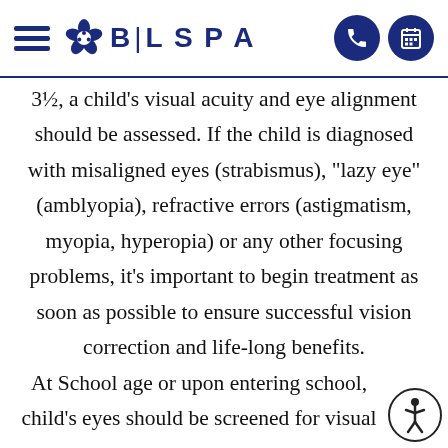BL SPA
3½, a child's visual acuity and eye alignment should be assessed. If the child is diagnosed with misaligned eyes (strabismus), "lazy eye" (amblyopia), refractive errors (astigmatism, myopia, hyperopia) or any other focusing problems, it's important to begin treatment as soon as possible to ensure successful vision correction and life-long benefits.
At School age or upon entering school, child's eyes should be screened for visual